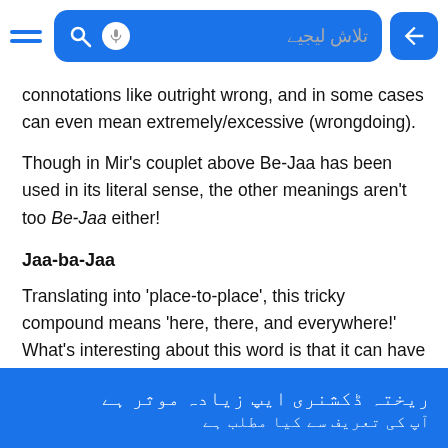[Figure (screenshot): Mobile app navigation bar with hamburger menu, blue search box with magnifier icon, microphone icon, Urdu placeholder text 'تلاش لیجیے', and blue profile/back button on the right]
connotations like outright wrong, and in some cases can even mean extremely/excessive (wrongdoing).
Though in Mir’s couplet above Be-Jaa has been used in its literal sense, the other meanings aren’t too Be-Jaa either!
Jaa-ba-Jaa
Translating into ‘place-to-place’, this tricky compound means ‘here, there, and everywhere!’ What’s interesting about this word is that it can have positive meanings such as ‘omnipresent/everywhere’, but also negative ones
ریختہ ڈکشنری ایپ زیادہ موثر ہے